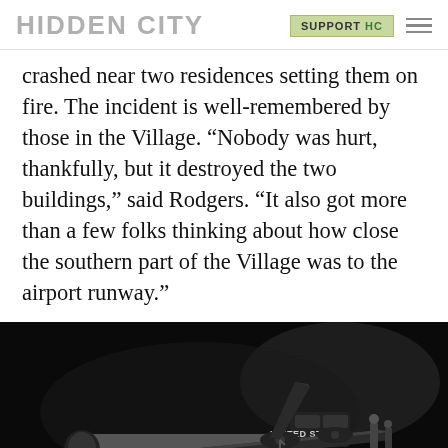HIDDEN CITY | SUPPORT HC
crashed near two residences setting them on fire. The incident is well-remembered by those in the Village. “Nobody was hurt, thankfully, but it destroyed the two buildings,” said Rodgers. “It also got more than a few folks thinking about how close the southern part of the Village was to the airport runway.”
[Figure (photo): Black and white photograph of a military aircraft (United States Air Force) on the ground at night, showing the fuselage with number 156 visible, and crew members near the aircraft.]